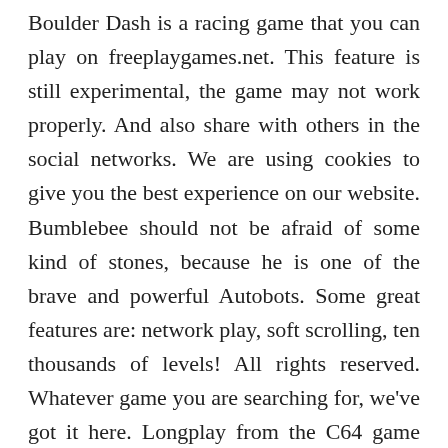Boulder Dash is a racing game that you can play on freeplaygames.net. This feature is still experimental, the game may not work properly. And also share with others in the social networks. We are using cookies to give you the best experience on our website. Bumblebee should not be afraid of some kind of stones, because he is one of the brave and powerful Autobots. Some great features are: network play, soft scrolling, ten thousands of levels! All rights reserved. Whatever game you are searching for, we've got it here. Longplay from the C64 game "Boulder Dash 2" Download Video (229 MB) For the video from the first part CLICK HERE (283 MB) For the best video quality I advise the Cinepack version Manual Boulder Dash 2 - Rockford's Revenge by Peter Liepa GAME OBJECTIVE: The objective of Boulder Dash 2 is to search throughout each CAVE and collect as many Jewels in as short a time as